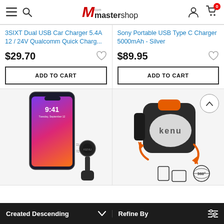Mastershop
3SIXT Dual USB Car Charger 5.4A 12 / 24V Qualcomm Quick Charg...
$29.70
ADD TO CART
Sony Portable USB Type C Charger 5000mAh - Silver
$89.95
ADD TO CART
[Figure (photo): Phone mounted on a magnetic car mount holder]
[Figure (photo): Kenu airframe car mount product with orange rotation arrows and feature icons]
Created Descending   Refine By